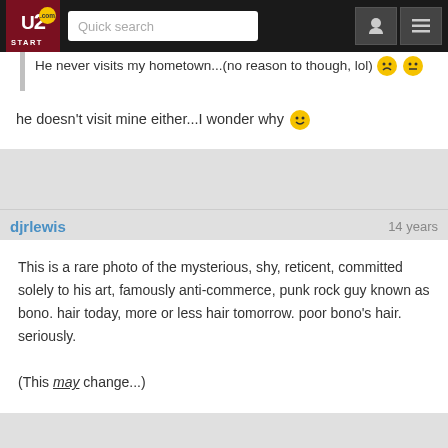U2START | Quick search
He never visits my hometown...(no reason to though, lol) [sad emoji] [meh emoji]
he doesn't visit mine either...I wonder why [smiley emoji]
djrlewis
14 years
This is a rare photo of the mysterious, shy, reticent, committed solely to his art, famously anti-commerce, punk rock guy known as bono. hair today, more or less hair tomorrow. poor bono's hair. seriously.

(This may change...)